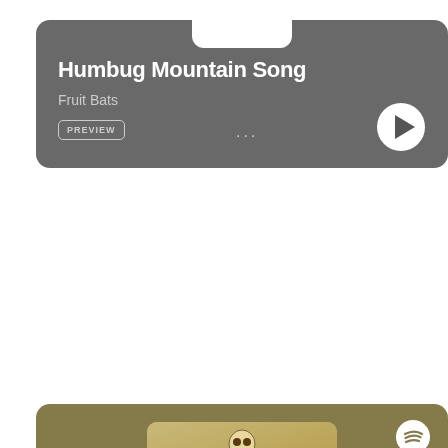[Figure (screenshot): Spotify music player card for 'Humbug Mountain Song' by Fruit Bats, with grey background, white notch at top, PREVIEW button, three-dots menu, and circular play button]
[Figure (screenshot): Spotify album card for Benjamin Booker with olive/khaki background, album cover showing skeleton figure holding a photo frame with children, 'BENJAMIN BOOKER' text, barcode, Spotify logo, and partial text 'Violent Chi...' at bottom]